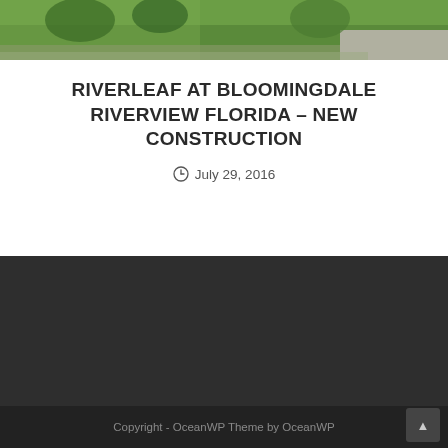[Figure (photo): Outdoor photo of a lawn/grass area with trees and a driveway, showing a new construction home setting]
RIVERLEAF AT BLOOMINGDALE RIVERVIEW FLORIDA – NEW CONSTRUCTION
July 29, 2016
Copyright - OceanWP Theme by OceanWP